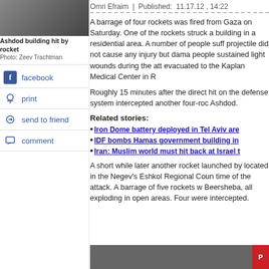[Figure (photo): Photo of Ashdod building hit by rocket]
Ashdod building hit by rocket
Photo: Zeev Trachtman
facebook
print
send to friend
comment
Omri Efraim  |  Published:  11.17.12 , 14:22
A barrage of four rockets was fired from Gaza on Saturday. One of the rockets struck a building in a residential area. A number of people suffered from the projectile did not cause any injury but damage people sustained light wounds during the attack evacuated to the Kaplan Medical Center in R
Roughly 15 minutes after the direct hit on the defense system intercepted another four-rock Ashdod.
Related stories:
Iron Dome battery deployed in Tel Aviv are
IDF bombs Hamas government building in
Iran: Muslim world must hit back at Israel t
A short while later another rocket launched by located in the Negev's Eshkol Regional Coun time of the attack. A barrage of five rockets w Beersheba, all exploding in open areas. Four were intercepted.
[Figure (photo): Second photo at bottom of article]